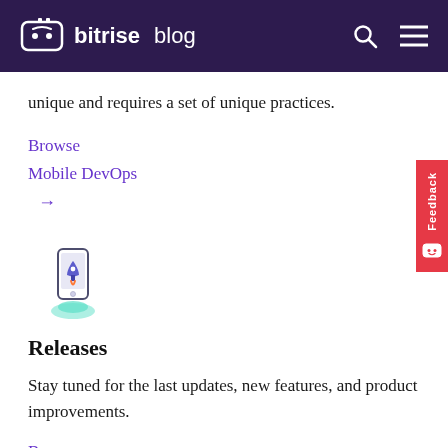bitrise blog
unique and requires a set of unique practices.
Browse
Mobile DevOps
→
[Figure (illustration): Rocket launching from a smartphone illustration with teal flame/smoke effect]
Releases
Stay tuned for the last updates, new features, and product improvements.
Browse